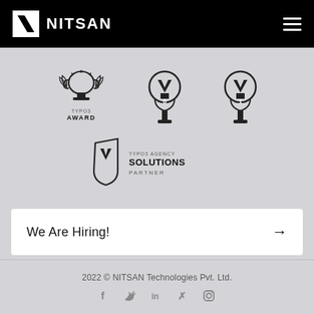[Figure (logo): NITSAN logo with N icon in white box on black header background, with hamburger menu icon on the right]
[Figure (infographic): Three award badges: TYPO3 Award trophy, two TYPO3 ranked badges (0 and 1), and a TYPO3 Agency Solutions Partner badge]
We Are Hiring! →
2022 © NITSAN Technologies Pvt. Ltd.